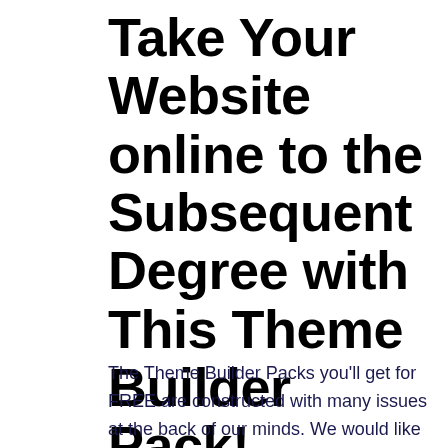Take Your Website online to the Subsequent Degree with This Theme Builder Pack!
The Theme Builder Packs you'll get for FREE are constructed with many issues at the back of our minds. We would like you to succeed in the perfect stage of modern day